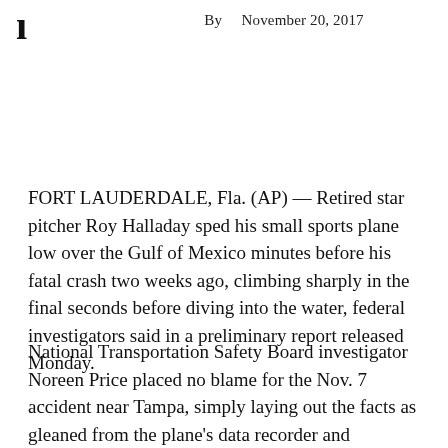By   November 20, 2017
FORT LAUDERDALE, Fla. (AP) — Retired star pitcher Roy Halladay sped his small sports plane low over the Gulf of Mexico minutes before his fatal crash two weeks ago, climbing sharply in the final seconds before diving into the water, federal investigators said in a preliminary report released Monday.
National Transportation Safety Board investigator Noreen Price placed no blame for the Nov. 7 accident near Tampa, simply laying out the facts as gleaned from the plane's data recorder and eyewitnesses. A final report with conclusions could